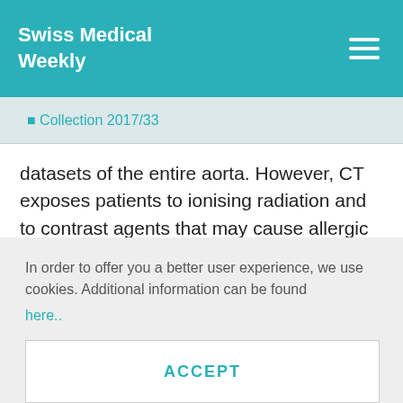Swiss Medical Weekly
⬤ Collection 2017/33
datasets of the entire aorta. However, CT exposes patients to ionising radiation and to contrast agents that may cause allergic reactions or renal failure [5, 46]. According to the IRAD study, prompt chest CT scan as the initial test is associated with the quickest diagnostic time [44]. Moreover, the important fir…
In order to offer you a better user experience, we use cookies. Additional information can be found here..
ACCEPT